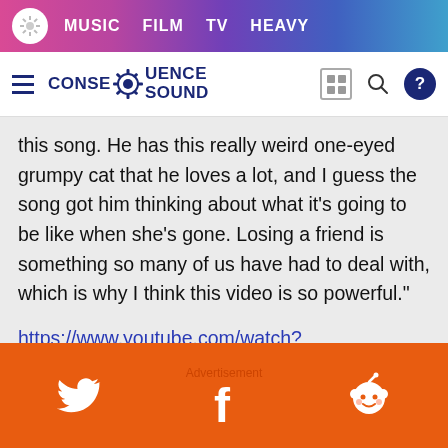MUSIC  FILM  TV  HEAVY
[Figure (logo): Consequence Sound logo with gear icon, navigation bar with hamburger menu, search and help icons]
this song. He has this really weird one-eyed grumpy cat that he loves a lot, and I guess the song got him thinking about what it's going to be like when she's gone. Losing a friend is something so many of us have had to deal with, which is why I think this video is so powerful."
https://www.youtube.com/watch?v=aa3Afg3fzAQ
Watch the touching video above.
Advertisement